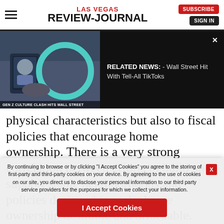LAS VEGAS REVIEW-JOURNAL
[Figure (screenshot): Related news banner showing a person holding a phone with a circular graphic overlay. Caption reads 'GEN Z CULTURE CLASH HITS WALL STREET'. Right side shows text: RELATED NEWS: - Wall Street Hit With Tell-All TikToks]
physical characteristics but also to fiscal policies that encourage home ownership. There is a very strong correlation between efforts to build and support stable neighborhoods and policies designed to make home ownership desirable and affordable.
By continuing to browse or by clicking "I Accept Cookies" you agree to the storing of first-party and third-party cookies on your device. By agreeing to the use of cookies on our site, you direct us to disclose your personal information to our third party service providers for the purposes for which we collect your information.